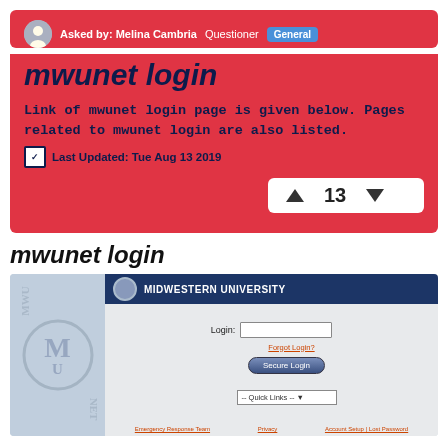Asked by: Melina Cambria  Questioner  General
mwunet login
Link of mwunet login page is given below. Pages related to mwunet login are also listed.
Last Updated: Tue Aug 13 2019
mwunet login
[Figure (screenshot): Screenshot of Midwestern University mwunet login page showing a login form with a Login field, Forgot Login link, Secure Login button, Quick Links dropdown, and footer links for Emergency Response Team, Privacy, Account Setup and Lost Password.]